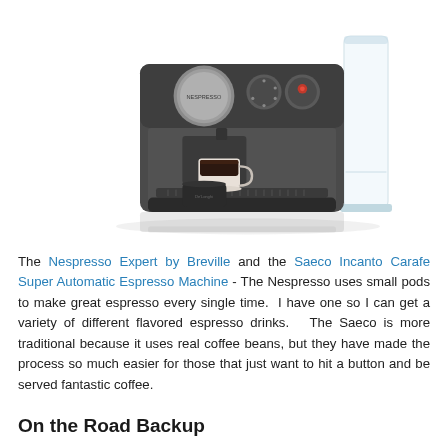[Figure (photo): A Nespresso Expert by Breville espresso machine in dark gray/anthracite color, shown from the front with a coffee cup underneath the spout and a water reservoir on the right side. The machine has a large circular logo button and two smaller round controls on the top front panel.]
The Nespresso Expert by Breville and the Saeco Incanto Carafe Super Automatic Espresso Machine - The Nespresso uses small pods to make great espresso every single time. I have one so I can get a variety of different flavored espresso drinks. The Saeco is more traditional because it uses real coffee beans, but they have made the process so much easier for those that just want to hit a button and be served fantastic coffee.
On the Road Backup